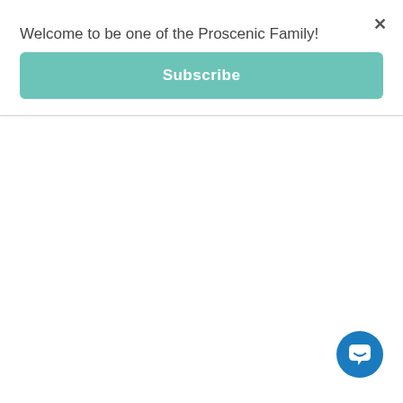×
Welcome to be one of the Proscenic Family!
Subscribe
[Figure (illustration): Teal rounded rectangle button labeled Subscribe]